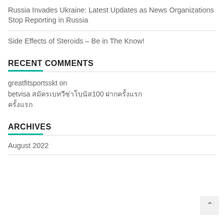Russia Invades Ukraine: Latest Updates as News Organizations Stop Reporting in Russia
Side Effects of Steroids – Be in The Know!
RECENT COMMENTS
greatfitsportsskt on betvisa สมัครเบทวีซ่าโบนัส100 ฝากครั้งแรกครั้งแรก
ARCHIVES
August 2022